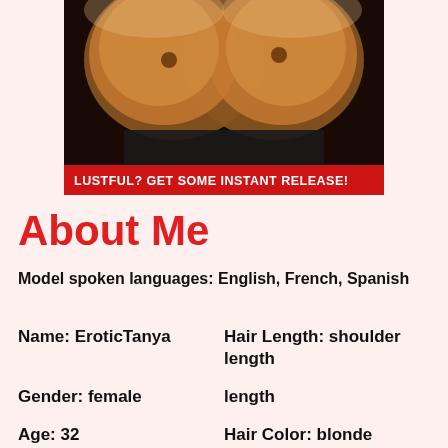[Figure (photo): An adult content promotional image with a red banner overlay at the bottom]
LUSTFUL? GET SOME INSTANT RELEASE!
About Me
Model spoken languages: English, French, Spanish
Name: EroticTanya
Hair Length: shoulder length
Gender: female
Age: 32
Hair Color: blonde